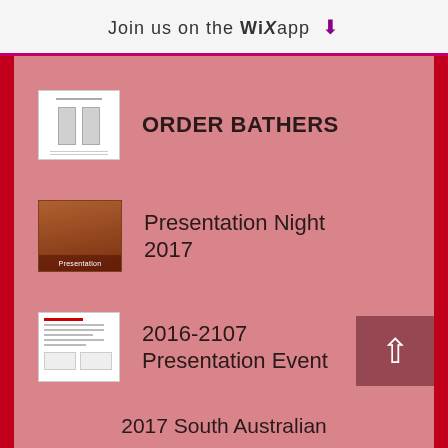Join us on the WiX app ⬇
ORDER BATHERS
Presentation Night 2017
2016-2107 Presentation Event
2017 South Australian